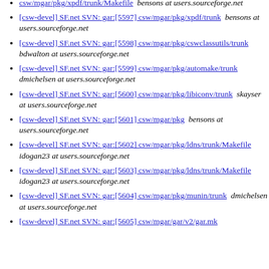[csw-devel] SF.net SVN: gar:[5597] csw/mgar/pkg/xpdf/trunk  bensons at users.sourceforge.net
[csw-devel] SF.net SVN: gar:[5598] csw/mgar/pkg/cswclassutils/trunk  bdwalton at users.sourceforge.net
[csw-devel] SF.net SVN: gar:[5599] csw/mgar/pkg/automake/trunk  dmichelsen at users.sourceforge.net
[csw-devel] SF.net SVN: gar:[5600] csw/mgar/pkg/libiconv/trunk  skayser at users.sourceforge.net
[csw-devel] SF.net SVN: gar:[5601] csw/mgar/pkg  bensons at users.sourceforge.net
[csw-devel] SF.net SVN: gar:[5602] csw/mgar/pkg/ldns/trunk/Makefile  idogan23 at users.sourceforge.net
[csw-devel] SF.net SVN: gar:[5603] csw/mgar/pkg/ldns/trunk/Makefile  idogan23 at users.sourceforge.net
[csw-devel] SF.net SVN: gar:[5604] csw/mgar/pkg/munin/trunk  dmichelsen at users.sourceforge.net
[csw-devel] SF.net SVN: gar:[5605] csw/mgar/gar/v2/gar.mk